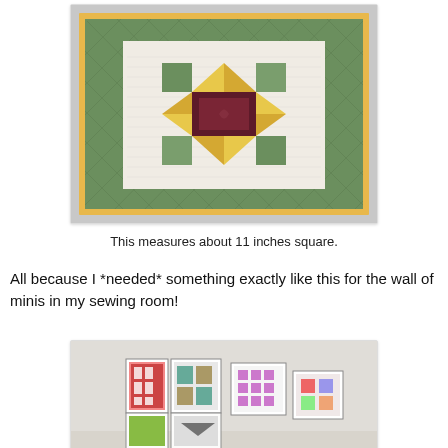[Figure (photo): A quilted mini quilt featuring a star/flower block pattern with yellow, green, and dark red/burgundy fabrics on a white background, surrounded by a green quilted border with a yellow floral binding.]
This measures about 11 inches square.
All because I *needed* something exactly like this for the wall of minis in my sewing room!
[Figure (photo): A wall display showing several small framed mini quilts hung on a white wall in a sewing room.]